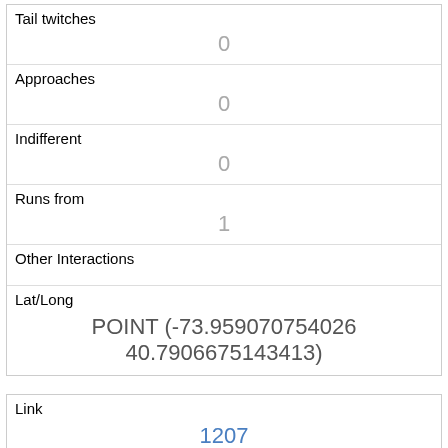| Tail twitches | 0 |
| Approaches | 0 |
| Indifferent | 0 |
| Runs from | 1 |
| Other Interactions |  |
| Lat/Long | POINT (-73.959070754026 40.7906675143413) |
| Link | 1207 |
| rowid | 1207 |
| longitude | -73.95947083287321 |
| latitude | 40.791192982895005 |